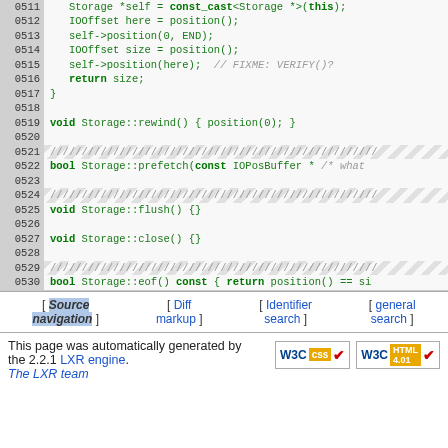C++ source code lines 0511-0530 showing Storage class methods: size(), rewind(), prefetch(), flush(), close(), eof()
[ Source navigation ] [ Diff markup ] [ Identifier search ] [ general search ]
This page was automatically generated by the 2.2.1 LXR engine. The LXR team
[Figure (logo): W3C CSS and W3C HTML 4.01 validation badges]